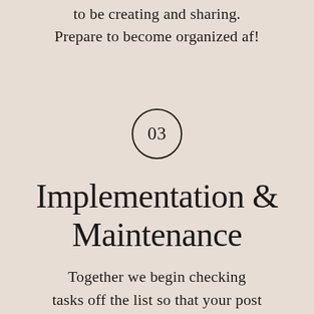to be creating and sharing.
Prepare to become organized af!
[Figure (other): Circle with number 03 inside]
Implementation & Maintenance
Together we begin checking tasks off the list so that your post